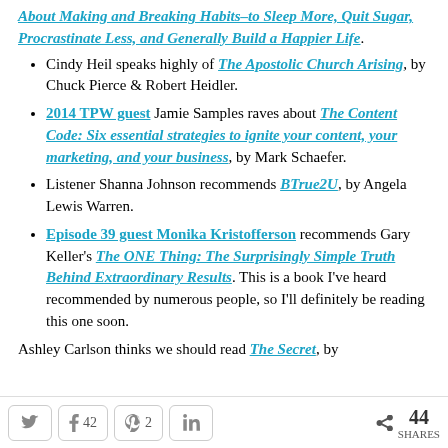About Making and Breaking Habits–to Sleep More, Quit Sugar, Procrastinate Less, and Generally Build a Happier Life.
Cindy Heil speaks highly of The Apostolic Church Arising, by Chuck Pierce & Robert Heidler.
2014 TPW guest Jamie Samples raves about The Content Code: Six essential strategies to ignite your content, your marketing, and your business, by Mark Schaefer.
Listener Shanna Johnson recommends BTrue2U, by Angela Lewis Warren.
Episode 39 guest Monika Kristofferson recommends Gary Keller's The ONE Thing: The Surprisingly Simple Truth Behind Extraordinary Results. This is a book I've heard recommended by numerous people, so I'll definitely be reading this one soon.
Ashley Carlson thinks we should read The Secret, by
Twitter | Facebook 42 | Pinterest 2 | LinkedIn | 44 SHARES